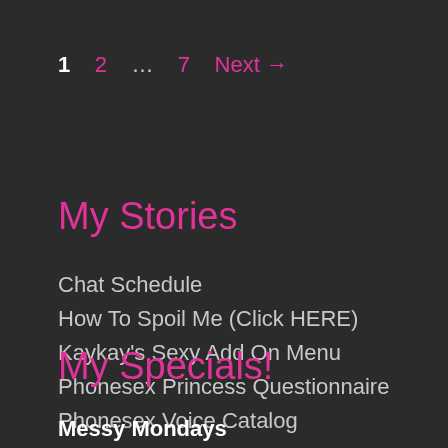1  2  ...  7  Next →
My Stories
Chat Schedule
How To Spoil Me (Click HERE)
Kaykay's Sexy Add On Menu
Phonesex Princess Questionnaire
Phonesex Voice Catalog
My Specials!
Messy Mondays